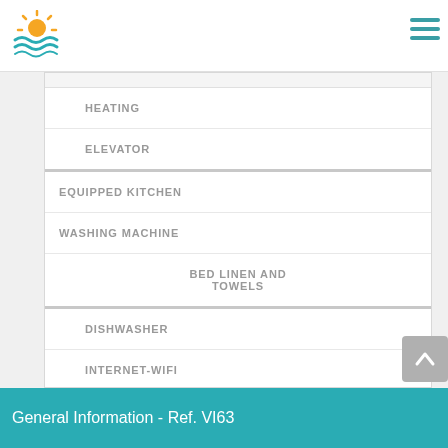HEATING
ELEVATOR
EQUIPPED KITCHEN
WASHING MACHINE
BED LINEN AND TOWELS
DISHWASHER
INTERNET-WIFI
TERRACE
General Information - Ref. VI63